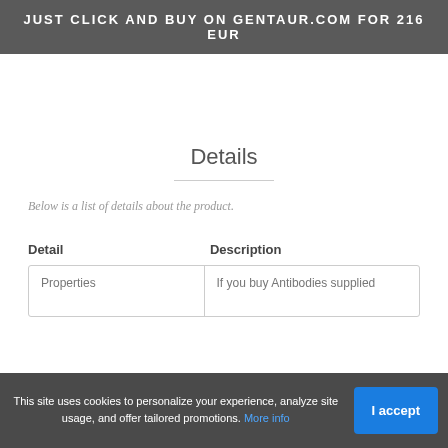JUST CLICK AND BUY ON GENTAUR.COM FOR 216 EUR
Details
Below is a list of details about the product.
| Detail | Description |
| --- | --- |
| Properties | If you buy Antibodies supplied |
This site uses cookies to personalize your experience, analyze site usage, and offer tailored promotions. More info